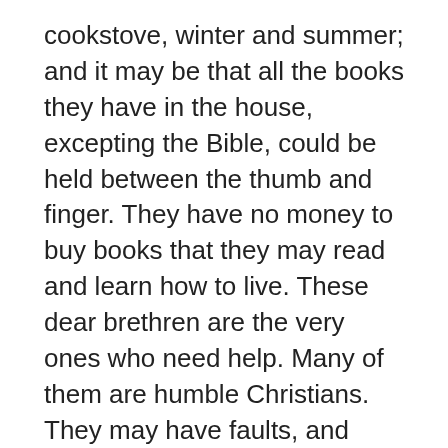cookstove, winter and summer; and it may be that all the books they have in the house, excepting the Bible, could be held between the thumb and finger. They have no money to buy books that they may read and learn how to live. These dear brethren are the very ones who need help. Many of them are humble Christians. They may have faults, and some of these may reach far back and be the cause of their present poverty and misery. And yet they may be living up to duty better than we who have the means to improve our own condition and that of others. These must be patiently taught and cheerfully helped.
But they must be willing and anxious to be